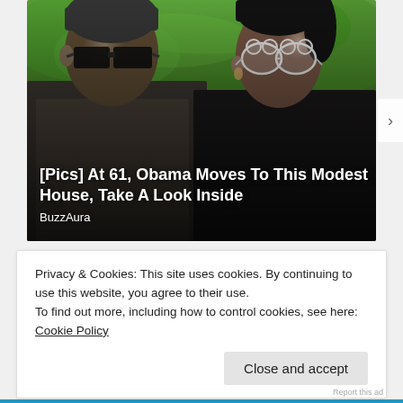[Figure (photo): Photo of Barack Obama and Michelle Obama wearing sunglasses outdoors with green foliage in the background. Obama wears dark square sunglasses and a dark patterned shirt; Michelle wears white heart-shaped sunglasses and a dark top. An overlay title reads '[Pics] At 61, Obama Moves To This Modest House, Take A Look Inside' with source 'BuzzAura'.]
Privacy & Cookies: This site uses cookies. By continuing to use this website, you agree to their use.
To find out more, including how to control cookies, see here: Cookie Policy
Close and accept